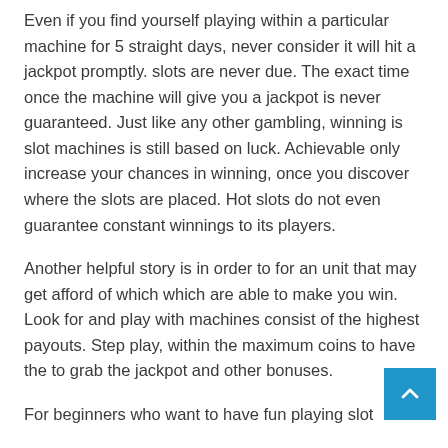Even if you find yourself playing within a particular machine for 5 straight days, never consider it will hit a jackpot promptly. slots are never due. The exact time once the machine will give you a jackpot is never guaranteed. Just like any other gambling, winning is slot machines is still based on luck. Achievable only increase your chances in winning, once you discover where the slots are placed. Hot slots do not even guarantee constant winnings to its players.
Another helpful story is in order to for an unit that may get afford of which which are able to make you win. Look for and play with machines consist of the highest payouts. Step play, within the maximum coins to have the to grab the jackpot and other bonuses.
For beginners who want to have fun playing slot